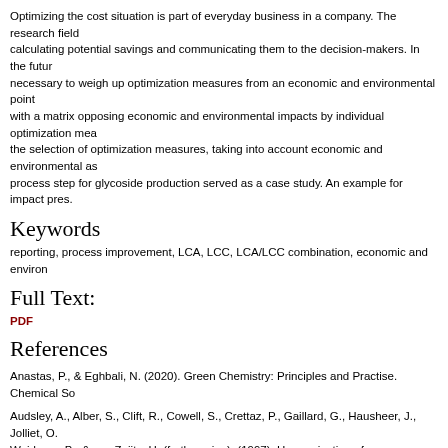Optimizing the cost situation is part of everyday business in a company. The research field calculating potential savings and communicating them to the decision-makers. In the futu necessary to weigh up optimization measures from an economic and environmental point with a matrix opposing economic and environmental impacts by individual optimization me the selection of optimization measures, taking into account economic and environmental a process step for glycoside production served as a case study. An example for impact pres
Keywords
reporting, process improvement, LCA, LCC, LCA/LCC combination, economic and environ
Full Text:
PDF
References
Anastas, P., & Eghbali, N. (2020). Green Chemistry: Principles and Practise. Chemical So
Audsley, A., Alber, S., Clift, R., Cowell, S., Crettaz, P., Gaillard, G., Hausheer, J., Jolliet, O. Weidema, B., & van Zeijts, H. (forthcoming), (1997). Harmonisation of Environmental Life Action AIR3-CT94-2028, 1–101. European Commission DG VI Agriculture.
Baum, H.-G., Coenenberg, A. G., & Günther, T. (2006). Strategisches Controlling [Strategi
Cavaignac, R. S., Ferreira, N. L., & Guardani, R. (2021). Techno-economic and environme Renewable Eergy, 171, 868-880. https://doi.org/10.1016/j.renene.2021.02.097
Coenenberg, A. G., Fischer, M. T. & Günther, T. (2016). Kostenrechnung und Kostenanaly Schäfer-Poeschel Verlag.
Dascalu, C., Caraiani, C., & Lungu, C. (2008). Eco-Cost Challenges for Environmental Pro